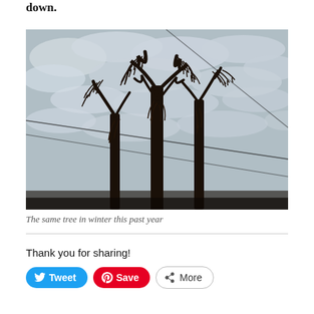down.
[Figure (photo): A bare, dead tree silhouetted against a cloudy winter sky. The tree's sparse branches hang with dried foliage. Power lines cross diagonally behind the tree.]
The same tree in winter this past year
Thank you for sharing!
Tweet | Save | More